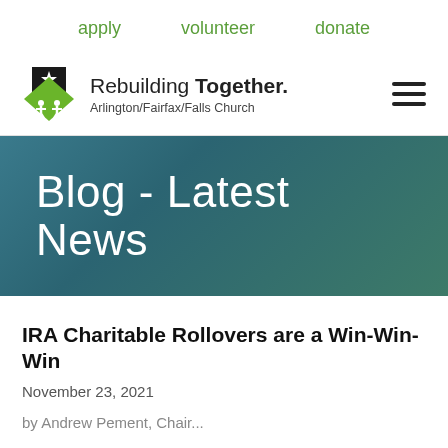apply   volunteer   donate
[Figure (logo): Rebuilding Together Arlington/Fairfax/Falls Church logo with green and black house icon and text]
Blog - Latest News
IRA Charitable Rollovers are a Win-Win-Win
November 23, 2021
by Andrew Pement, Chair...